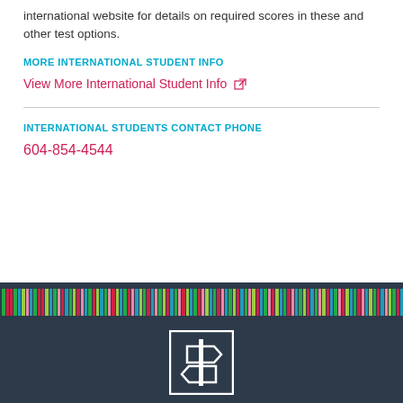international website for details on required scores in these and other test options.
MORE INTERNATIONAL STUDENT INFO
View More International Student Info
INTERNATIONAL STUDENTS CONTACT PHONE
604-854-4544
[Figure (illustration): Colorful vertical stripes bar and dark navy footer with a white outlined logo box containing a directional sign icon]